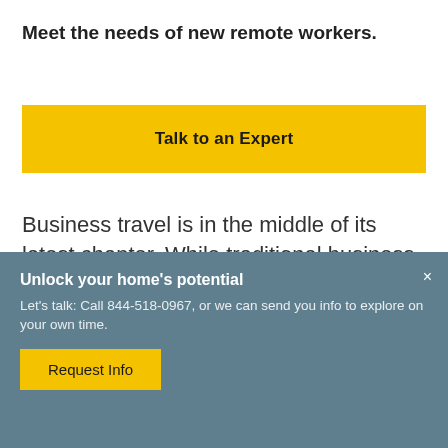Meet the needs of new remote workers.
Talk to an Expert
Business travel is in the middle of its latest chapter. While traditional business travel — to attend a meeting or conference, for example
Unlock your home's potential
Let's talk: Call 844-518-0967, or we can send you info to explore on your own time.
Request Info